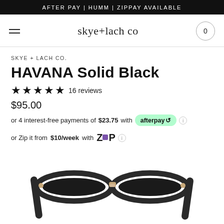AFTER PAY | HUMM | ZIPPAY AVAILABLE
skye+lach co
SKYE + LACH CO.
HAVANA Solid Black
★★★★★ 16 reviews
$95.00
or 4 interest-free payments of $23.75 with afterpay
or Zip it from $10/week with Zip
[Figure (photo): Close-up of black sunglasses frames with rose gold bridge hardware, viewed from above against a white background]